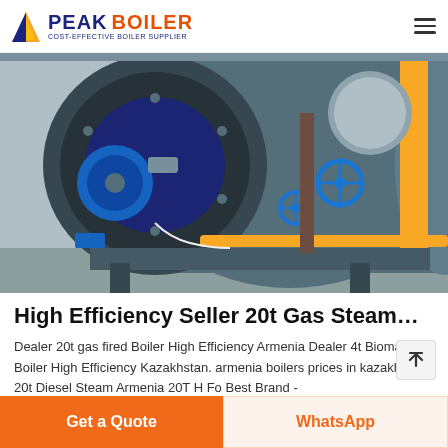PEAK BOILER - COST-EFFECTIVE BOILER SUPPLIER
[Figure (photo): Industrial gas-fired steam boiler installation showing large cylindrical boiler body in blue and gray, with yellow gas piping, blue valve handwheels, and surrounding industrial equipment in a boiler room.]
High Efficiency Seller 20t Gas Steam…
Dealer 20t gas fired Boiler High Efficiency Armenia Dealer 4t Biomass Boiler High Efficiency Kazakhstan. armenia boilers prices in kazakhstan. 20t Diesel Steam Armenia 20T H Fo Best Brand -